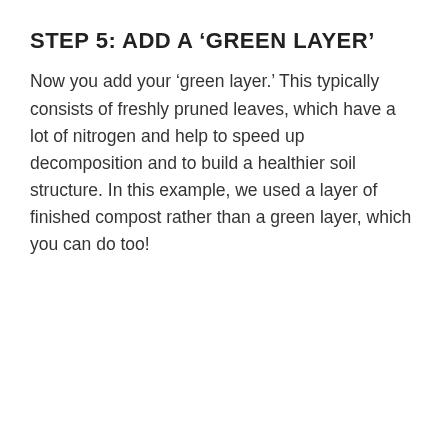STEP 5: ADD A ‘GREEN LAYER’
Now you add your ‘green layer.’ This typically consists of freshly pruned leaves, which have a lot of nitrogen and help to speed up decomposition and to build a healthier soil structure. In this example, we used a layer of finished compost rather than a green layer, which you can do too!